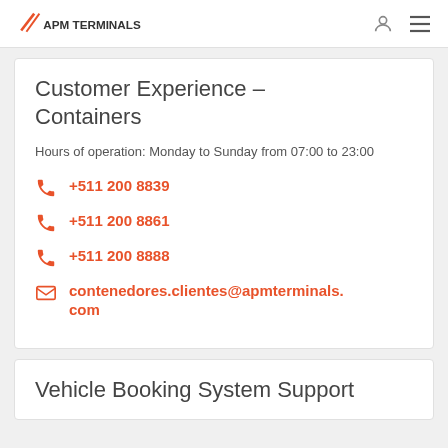APM TERMINALS
Customer Experience – Containers
Hours of operation: Monday to Sunday from 07:00 to 23:00
+511 200 8839
+511 200 8861
+511 200 8888
contenedores.clientes@apmterminals.com
Vehicle Booking System Support